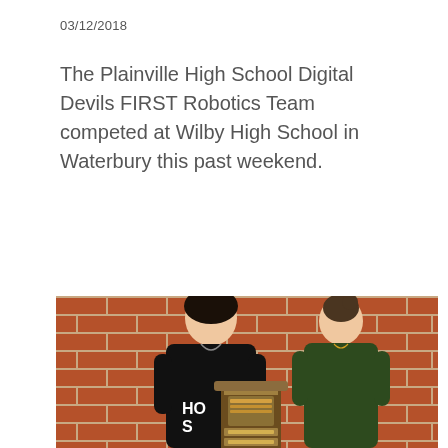03/12/2018
The Plainville High School Digital Devils FIRST Robotics Team competed at Wilby High School in Waterbury this past weekend.
Read More
[Figure (photo): Two high school students standing in front of a brick wall, holding a large trophy/plaque. The male student on the left wears a black hoodie with 'HOL STO' text visible, and the female student on the right wears a dark green sweater.]